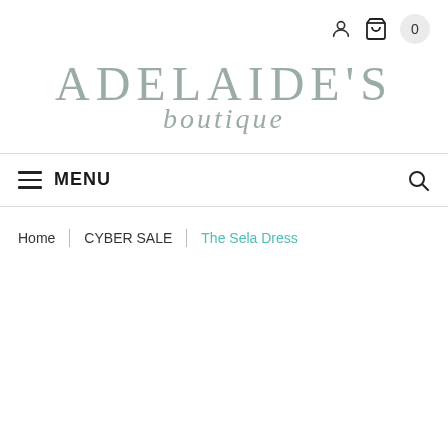[Figure (screenshot): Top navigation bar with person icon, cart icon, and cart badge showing 0]
ADELAIDE'S boutique
MENU
Home | CYBER SALE | The Sela Dress